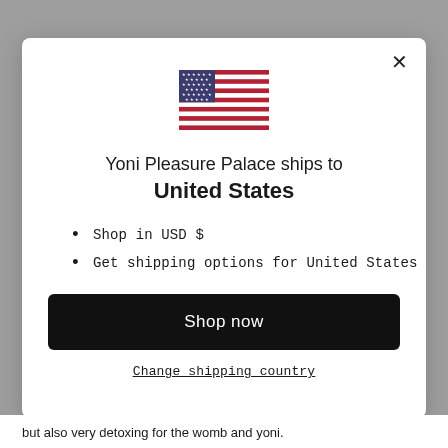[Figure (illustration): US flag emoji/icon centered in the modal dialog]
Yoni Pleasure Palace ships to United States
Shop in USD $
Get shipping options for United States
Shop now
Change shipping country
but also very detoxing for the womb and yoni.